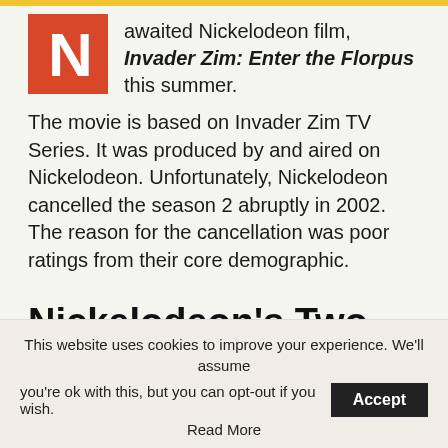[Figure (logo): Nickelodeon 'N' logo in white on a red/orange square background]
awaited Nickelodeon film, Invader Zim: Enter the Florpus this summer.
The movie is based on Invader Zim TV Series. It was produced by and aired on Nickelodeon. Unfortunately, Nickelodeon cancelled the season 2 abruptly in 2002. The reason for the cancellation was poor ratings from their core demographic.
Nickelodeon's Two TV Movies On Netflix
Finally available on...
This website uses cookies to improve your experience. We'll assume you're ok with this, but you can opt-out if you wish. Accept Read More